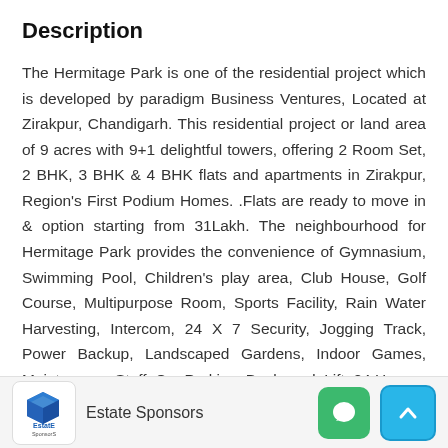Description
The Hermitage Park is one of the residential project which is developed by paradigm Business Ventures, Located at Zirakpur, Chandigarh. This residential project or land area of 9 acres with 9+1 delightful towers, offering 2 Room Set, 2 BHK, 3 BHK & 4 BHK flats and apartments in Zirakpur, Region's First Podium Homes. .Flats are ready to move in & option starting from 31Lakh. The neighbourhood for Hermitage Park provides the convenience of Gymnasium, Swimming Pool, Children's play area, Club House, Golf Course, Multipurpose Room, Sports Facility, Rain Water Harvesting, Intercom, 24 X 7 Security, Jogging Track, Power Backup, Landscaped Gardens, Indoor Games, Maintenance Staff, Car Parking, Boulevard, Lift, 24 Hour
Estate Sponsors